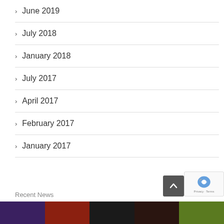June 2019
July 2018
January 2018
July 2017
April 2017
February 2017
January 2017
Recent News
[Figure (photo): Row of 5 news thumbnail images at bottom of page]